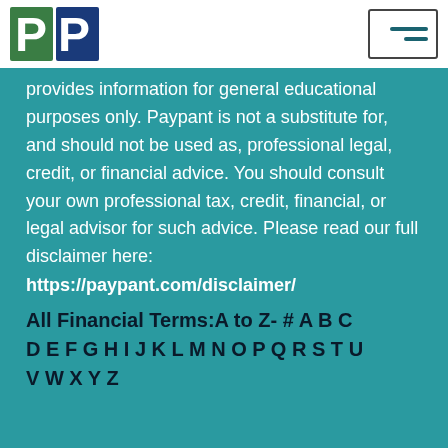[Figure (logo): Paypant logo - green letter P and blue letter P on white/blue background]
[Figure (other): Hamburger menu icon with two horizontal lines]
provides information for general educational purposes only. Paypant is not a substitute for, and should not be used as, professional legal, credit, or financial advice. You should consult your own professional tax, credit, financial, or legal advisor for such advice. Please read our full disclaimer here:
https://paypant.com/disclaimer/
All Financial Terms:A to Z- # A B C D E F G H I J K L M N O P Q R S T U V W X Y Z